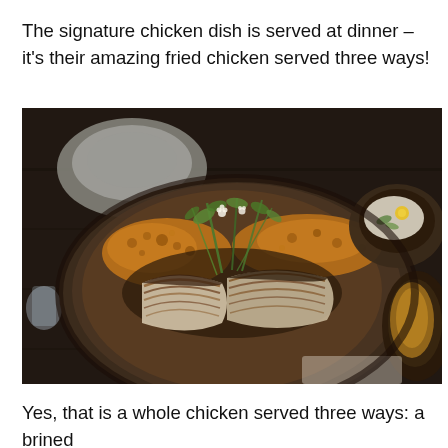The signature chicken dish is served at dinner – it's their amazing fried chicken served three ways!
[Figure (photo): A dark wooden plate filled with fried chicken served three ways — breaded/crispy pieces and sliced grilled chicken breast — garnished with fresh herbs and flowers, with small side dishes visible on the right.]
Yes, that is a whole chicken served three ways: a brined